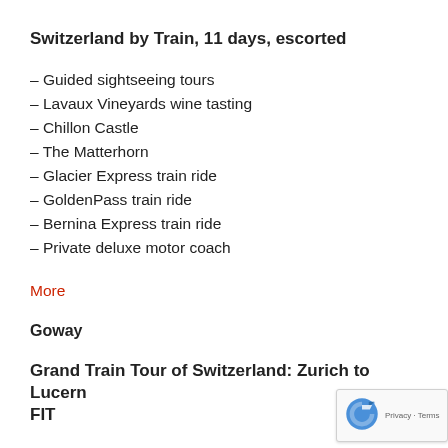Switzerland by Train, 11 days, escorted
– Guided sightseeing tours
– Lavaux Vineyards wine tasting
– Chillon Castle
– The Matterhorn
– Glacier Express train ride
– GoldenPass train ride
– Bernina Express train ride
– Private deluxe motor coach
More
Goway
Grand Train Tour of Switzerland: Zurich to Lucern FIT